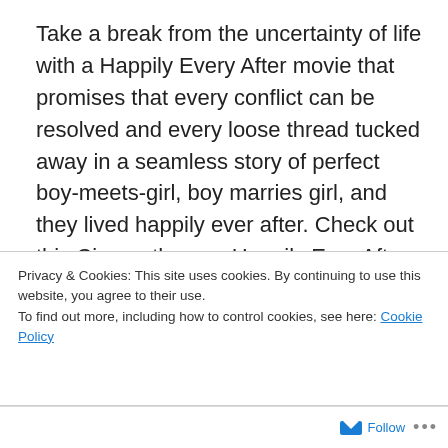Take a break from the uncertainty of life with a Happily Every After movie that promises that every conflict can be resolved and every loose thread tucked away in a seamless story of perfect boy-meets-girl, boy marries girl, and they lived happily ever after. Check out this Cinematherapy Happily Ever After Movie.
[Figure (photo): Movie poster for a film featuring Rock Hudson and Doris Day, with a pink widescreen banner at top and large stylized red title text below.]
Privacy & Cookies: This site uses cookies. By continuing to use this website, you agree to their use.
To find out more, including how to control cookies, see here: Cookie Policy
Close and accept
Follow